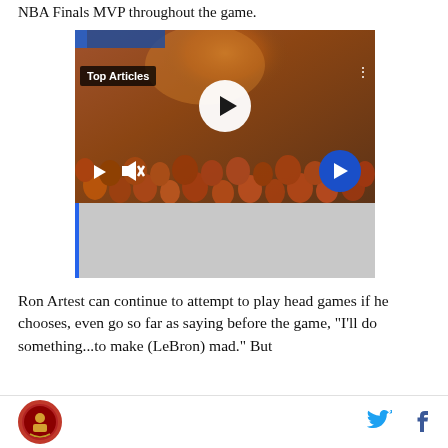NBA Finals MVP throughout the game.
[Figure (screenshot): Video player screenshot showing a crowd of fans with orange smoke, overlaid with Top Articles label, play button, mute button, and a blue forward arrow button. Below the video image is a gray region with a blue vertical progress bar.]
Ron Artest can continue to attempt to play head games if he chooses, even go so far as saying before the game, "I'll do something...to make (LeBron) mad." But